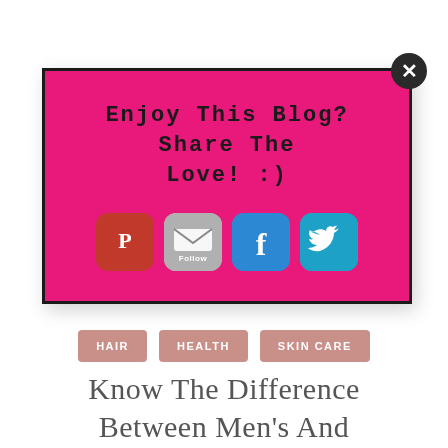[Figure (infographic): Pink popup box with dark border and close button (X), containing the text 'Enjoy This Blog? Share The Love! :)' and four social media icon buttons: Pinterest (red), Email/Follow (gray), Facebook (blue), Twitter (cyan)]
HAIR  HEALTH  SKIN CARE
Know The Difference Between Men's And Women's Skincare